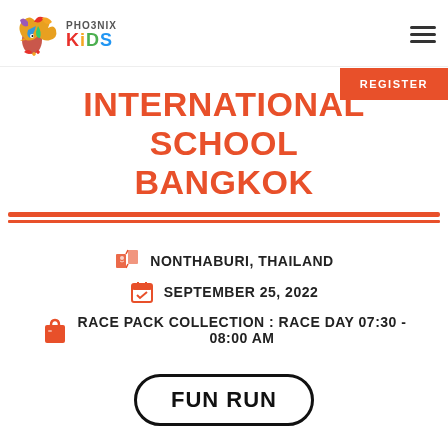[Figure (logo): Phoenix Kids logo with colorful bird and text PHO3NIX KIDS]
INTERNATIONAL SCHOOL BANGKOK
NONTHABURI, THAILAND
SEPTEMBER 25, 2022
RACE PACK COLLECTION : RACE DAY 07:30 - 08:00 AM
FUN RUN